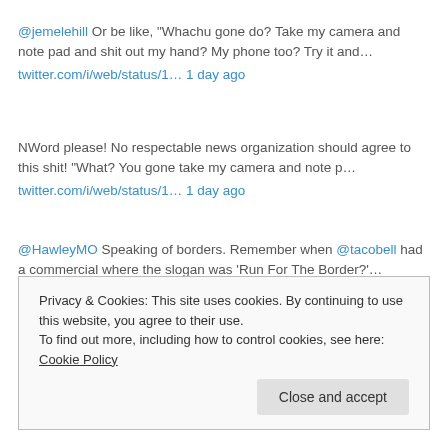@jemelehill Or be like, "Whachu gone do? Take my camera and note pad and shit out my hand? My phone too? Try it and… twitter.com/i/web/status/1… 1 day ago
NWord please! No respectable news organization should agree to this shit! "What? You gone take my camera and note p… twitter.com/i/web/status/1… 1 day ago
@HawleyMO Speaking of borders. Remember when @tacobell had a commercial where the slogan was 'Run For The Border?'… twitter.com/i/web/status/1… 1 day ago
Privacy & Cookies: This site uses cookies. By continuing to use this website, you agree to their use. To find out more, including how to control cookies, see here: Cookie Policy